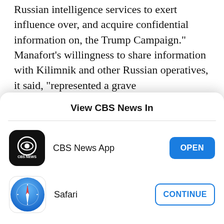Russian intelligence services to exert influence over, and acquire confidential information on, the Trump Campaign." Manafort's willingness to share information with Kilimnik and other Russian operatives, it said, "represented a grave counterintelligence threat."
Manafort was sentenced last March to a seven-year prison term for fraud charges that stemmed from the special counsel's investigation, though he was
[Figure (screenshot): Mobile app selection modal titled 'View CBS News In' with two options: CBS News App (with OPEN button) and Safari (with CONTINUE button)]